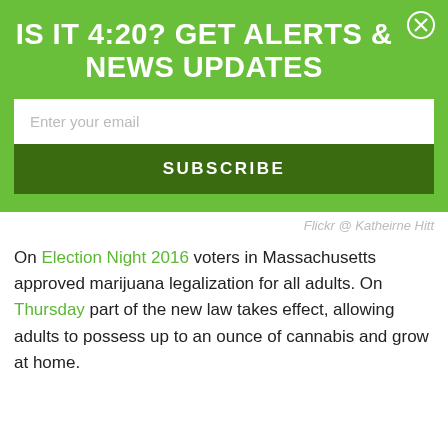IS IT 4:20? GET ALERTS & NEWS UPDATES
[Figure (screenshot): Email subscription form with green background, email input field, and Subscribe button]
Flickr @ Katheirne Hitt
On Election Night 2016 voters in Massachusetts approved marijuana legalization for all adults. On Thursday part of the new law takes effect, allowing adults to possess up to an ounce of cannabis and grow at home.